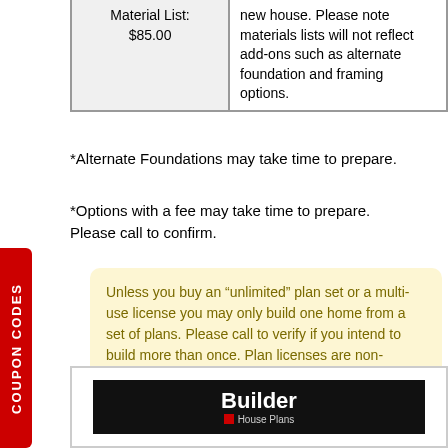| Material List:
$85.00 | new house. Please note materials lists will not reflect add-ons such as alternate foundation and framing options. |
*Alternate Foundations may take time to prepare.
*Options with a fee may take time to prepare. Please call to confirm.
Unless you buy an “unlimited” plan set or a multi-use license you may only build one home from a set of plans. Please call to verify if you intend to build more than once. Plan licenses are non-transferable and cannot be resold.
[Figure (logo): Builder House Plans logo on black background]